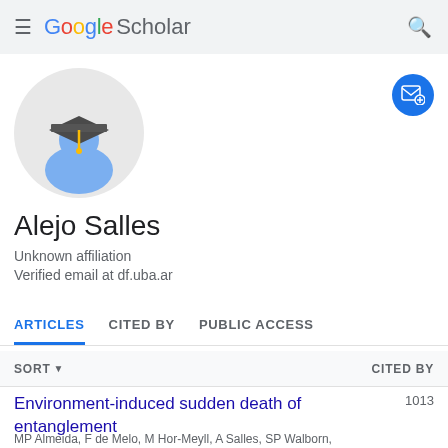Google Scholar
[Figure (illustration): Google Scholar default user avatar: circular grey background with a blue silhouette wearing a dark graduation cap with yellow tassel]
Alejo Salles
Unknown affiliation
Verified email at df.uba.ar
ARTICLES    CITED BY    PUBLIC ACCESS
SORT    CITED BY
Environment-induced sudden death of entanglement
MP Almeida, F de Melo, M Hor-Meyll, A Salles, SP Walborn,
1013